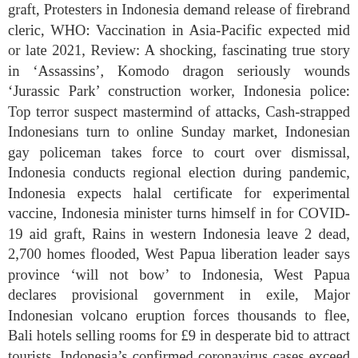graft, Protesters in Indonesia demand release of firebrand cleric, WHO: Vaccination in Asia-Pacific expected mid or late 2021, Review: A shocking, fascinating true story in 'Assassins', Komodo dragon seriously wounds 'Jurassic Park' construction worker, Indonesia police: Top terror suspect mastermind of attacks, Cash-strapped Indonesians turn to online Sunday market, Indonesian gay policeman takes force to court over dismissal, Indonesia conducts regional election during pandemic, Indonesia expects halal certificate for experimental vaccine, Indonesia minister turns himself in for COVID-19 aid graft, Rains in western Indonesia leave 2 dead, 2,700 homes flooded, West Papua liberation leader says province 'will not bow' to Indonesia, West Papua declares provisional government in exile, Major Indonesian volcano eruption forces thousands to flee, Bali hotels selling rooms for £9 in desperate bid to attract tourists, Indonesia's confirmed coronavirus cases exceed half million, Passenger gives birth in back row of seats onboard Lion Air flight, Man becomes millionaire after meteorite falls through his roof, Coronavirus cases surging in Asian countries, Findings of AP dive into abuse of female palm oil workers, Rape, abuses in palm oil fields linked to top beauty brands, Bali tourists could be jailed for drinking in proposed law change, Save 5% on Travelodge bookings when you sign up for the newsletter, 8% off your UK hotel bookings with Hotels.com